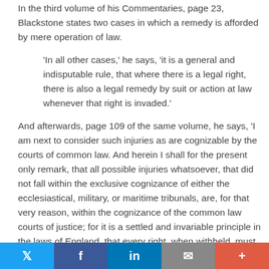In the third volume of his Commentaries, page 23, Blackstone states two cases in which a remedy is afforded by mere operation of law.
'In all other cases,' he says, 'it is a general and indisputable rule, that where there is a legal right, there is also a legal remedy by suit or action at law whenever that right is invaded.'
And afterwards, page 109 of the same volume, he says, 'I am next to consider such injuries as are cognizable by the courts of common law. And herein I shall for the present only remark, that all possible injuries whatsoever, that did not fall within the exclusive cognizance of either the ecclesiastical, military, or maritime tribunals, are, for that very reason, within the cognizance of the common law courts of justice; for it is a settled and invariable principle in the laws of England, that every right, when withheld, must have a
Twitter | Facebook | LinkedIn | Email | +